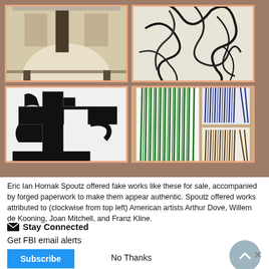[Figure (photo): A 2x2 grid of four artwork images on a tan/brown background, each in a salmon/coral colored frame. Top-left: Arthur Dove abstract painting (muted tones, architectural shapes). Top-right: Willem de Kooning abstract dark ink drawing on light background. Bottom-left: Franz Kline bold black abstract forms on white background. Bottom-right: Joan Mitchell three smaller paintings of green, blue, and brown vertical strokes (grass-like).]
Eric Ian Hornak Spoutz offered fake works like these for sale, accompanied by forged paperwork to make them appear authentic. Spoutz offered works attributed to (clockwise from top left) American artists Arthur Dove, Willem de Kooning, Joan Mitchell, and Franz Kline.
Stay Connected
Get FBI email alerts
Subscribe
No Thanks